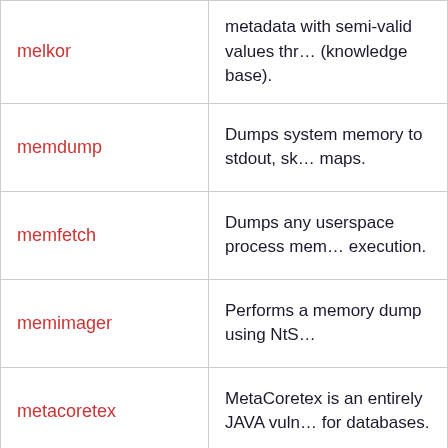| Tool | Description |
| --- | --- |
| melkor | metadata with semi-valid values thr... (knowledge base). |
| memdump | Dumps system memory to stdout, sk... maps. |
| memfetch | Dumps any userspace process mem... execution. |
| memimager | Performs a memory dump using NtS... |
| metacoretex | MetaCoretex is an entirely JAVA vuln... for databases. |